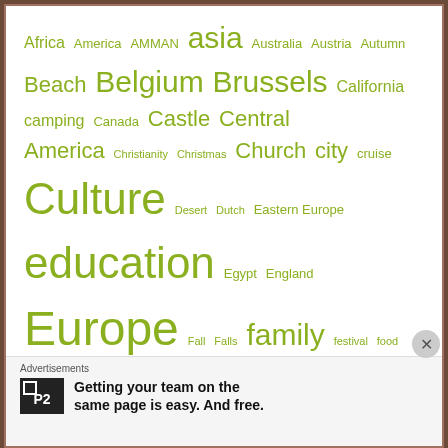[Figure (infographic): Tag cloud with travel-related keywords in varying font sizes, all in olive/yellow-green color. Tags include: Africa, America, AMMAN, asia, Australia, Austria, Autumn, Beach, Belgium, Brussels, California, camping, Canada, Castle, Central America, Christianity, Christmas, Church, city, cruise, Culture, Desert, Dutch, Eastern Europe, education, Egypt, England, Europe, Fall, Falls, family, festival, food, France, Germany, Greece, History, holiday, international, Islam, Island, Italy, Jerusalem, Jordan, Lake, Mountains, national parks, nature, Netherlands, North America, Old town, Oregon, Outdoor]
Advertisements
Getting your team on the same page is easy. And free.